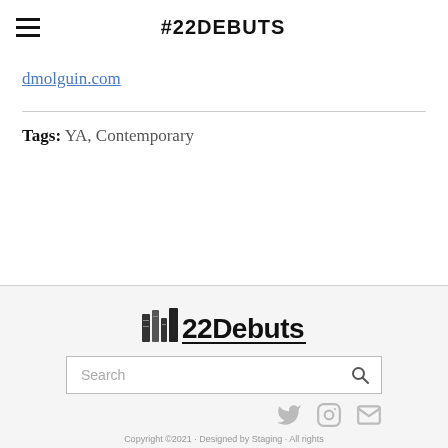#22DEBUTS
dmolguin.com
Tags: YA, Contemporary
[Figure (logo): 22Debuts logo with book icon and bold text reading '22Debuts', underlined]
Search
Copyright ©2021 · Designed by Staging · All rights